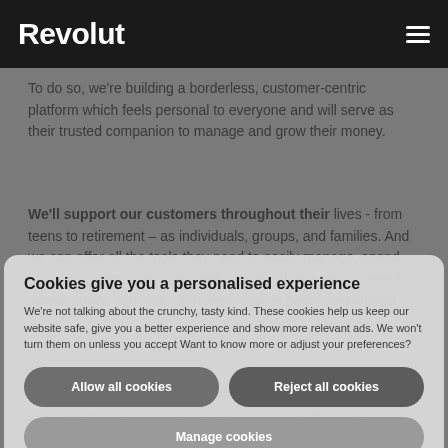Revolut
To do so, we're building a borderless, customer-centric platform which feels personal to everyone and will serve as their trusted companion to manage and grow their money.
We'll support our customers throughout their lives - from teens to retirement – as individuals, groups, and families. And we can offer all the tools they need to easily manage, spend, borrow, protect, and invest their money. All in a personalised, simple space that looks and feels local at home and abroad.
We'll also continue empowering businesses with the tools they need to start, run, and scale. In practice, this means Revolut platform to control their spending and minimise cost, accept
Cookies give you a personalised experience
We're not talking about the crunchy, tasty kind. These cookies help us keep our website safe, give you a better experience and show more relevant ads. We won't turn them on unless you accept Want to know more or adjust your preferences?
Allow all cookies
Reject all cookies
Manage cookies